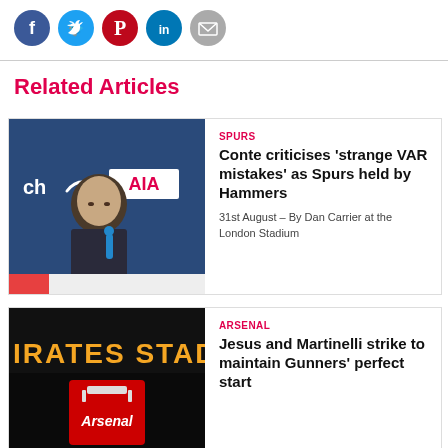[Figure (other): Social sharing icons: Facebook, Twitter, Pinterest, LinkedIn, Email]
Related Articles
[Figure (photo): Antonio Conte at press conference in front of AIA sponsor board]
SPURS
Conte criticises 'strange VAR mistakes' as Spurs held by Hammers
31st August – By Dan Carrier at the London Stadium
[Figure (photo): Emirates Stadium sign at night with Arsenal logo]
ARSENAL
Jesus and Martinelli strike to maintain Gunners' perfect start